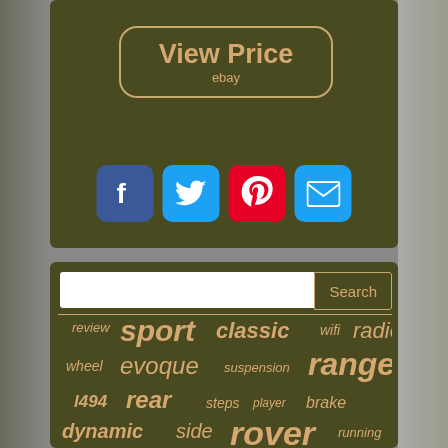[Figure (screenshot): View Price button with ebay label, dark olive background with tan border]
[Figure (infographic): Social sharing icons row: Facebook (blue), Twitter (light blue), Pinterest (red), Email (light blue)]
[Figure (screenshot): Search input box with Search button]
review sport classic wifi radio wheel evoque suspension range l494 rear steps player brake dynamic side rover running discovery
Tag cloud of Land Rover related keywords